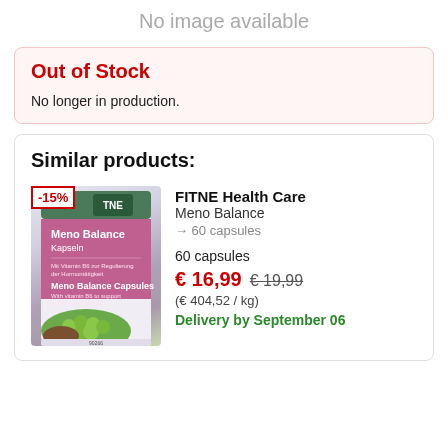No image available
Out of Stock
No longer in production.
Similar products:
[Figure (photo): Product image of FITNE Health Care Meno Balance capsules with -15% discount badge]
FITNE Health Care
Meno Balance
→ 60 capsules
60 capsules
€ 16,99  € 19,99
(€ 404,52 / kg)
Delivery by September 06